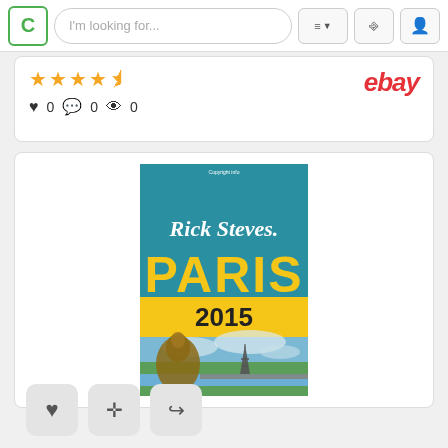[Figure (screenshot): Website navigation bar with search field reading 'I'm looking for...', menu button, login and profile icons, and a green C logo]
[Figure (screenshot): Rating card showing 4.5 stars, eBay logo in red, and social counters (heart 0, comment 0, eye 0)]
[Figure (photo): Book cover of Rick Steves Paris 2015 travel guide. Teal background with white script 'Rick Steves' text, large yellow 'PARIS' block letters, gold/yellow banner with '2015', and photo of a bronze statue with Eiffel Tower and waterway in background]
[Figure (screenshot): Bottom action buttons: heart/favorite, move/reposition crosshair, and share/forward arrow]